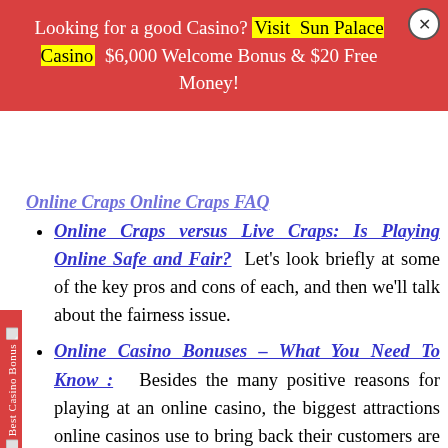Looking for a good Casino? Visit Sun Palace Casino $6,000 Welcome Bonus & $20 Free Money!
Online Craps versus Live Craps: Is Playing Online Safe and Fair? Let's look briefly at some of the key pros and cons of each, and then we'll talk about the fairness issue.
Online Casino Bonuses – What You Need To Know : Besides the many positive reasons for playing at an online casino, the biggest attractions online casinos use to bring back their customers are bonuses.
Download versus Instant Play Games at Online Casinos : When deciding which